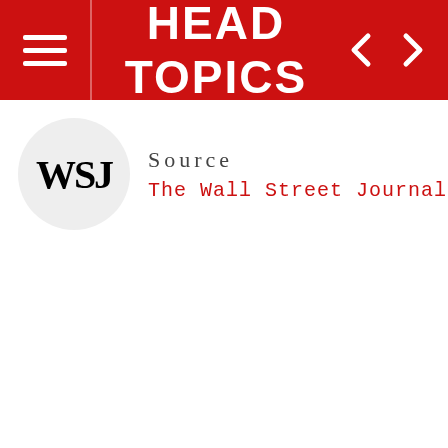HEAD TOPICS
[Figure (logo): WSJ logo circle with The Wall Street Journal source label]
Source
The Wall Street Journal